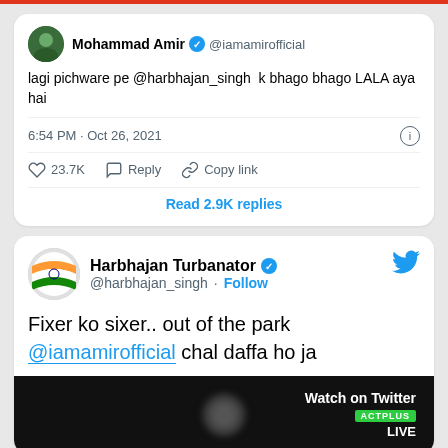[Figure (screenshot): Screenshot of a tweet by Mohammad Amir (@iamamirofficial) saying 'lagi pichware pe @harbhajan_singh k bhago bhago LALA aya hai', posted at 6:54 PM Oct 26 2021, with 23.7K likes and 2.9K replies.]
[Figure (screenshot): Screenshot of a tweet by Harbhajan Turbanator (@harbhajan_singh) saying 'Fixer ko sixer.. out of the park @iamamirofficial chal daffa ho ja' with a Watch on Twitter video thumbnail.]